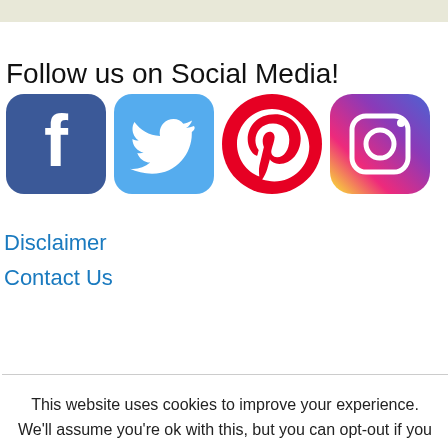Follow us on Social Media!
[Figure (illustration): Social media icons: Facebook, Twitter, Pinterest, Instagram]
Disclaimer
Contact Us
This website uses cookies to improve your experience. We'll assume you're ok with this, but you can opt-out if you wish.
Cookie settings
ACCEPT